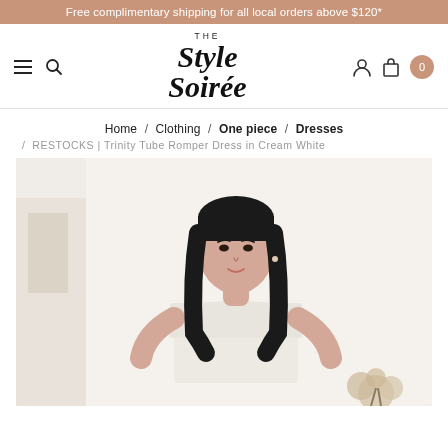Free complimentary shipping for all local orders above $120*
[Figure (logo): The Style Soiree brand logo with hamburger menu, search icon, user icon, bag icon and cart badge showing 0]
Home / Clothing / One piece / Dresses / RESTOCKS | Trinity Tube Romper Dress in Cream White
[Figure (photo): A young Asian woman wearing a cream white strapless tube romper dress, holding a small bouquet, photographed against a light background]